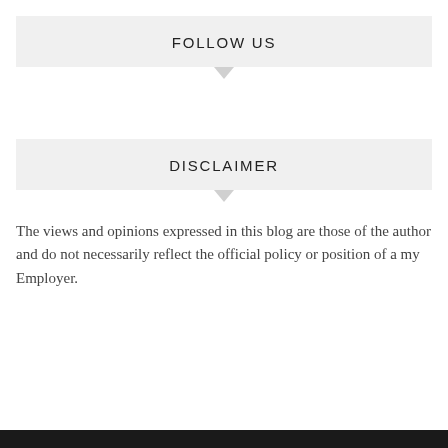FOLLOW US
DISCLAIMER
The views and opinions expressed in this blog are those of the author and do not necessarily reflect the official policy or position of a my Employer.